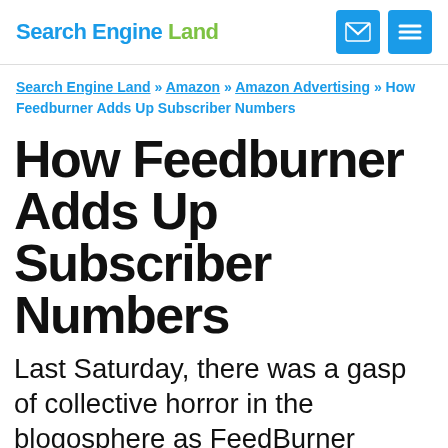Search Engine Land
Search Engine Land » Amazon » Amazon Advertising » How Feedburner Adds Up Subscriber Numbers
How Feedburner Adds Up Subscriber Numbers
Last Saturday, there was a gasp of collective horror in the blogosphere as FeedBurner subscriber stats plunged for many sites. Today, it's happened again. Don't panic! Your subscribers are probably